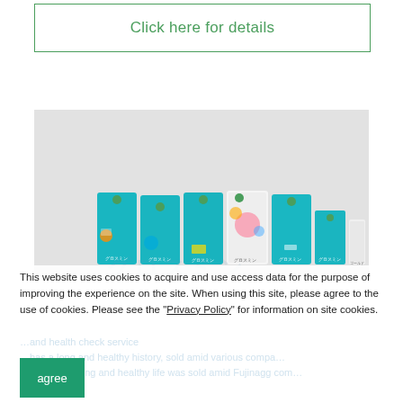Click here for details
[Figure (photo): Product lineup of multiple teal/colorful box-shaped health supplement packages arranged in a row on a light gray background]
This website uses cookies to acquire and use access data for the purpose of improving the experience on the site. When using this site, please agree to the use of cookies. Please see the "Privacy Policy" for information on site cookies.
agree